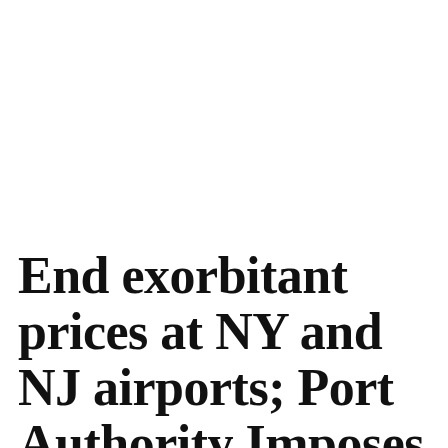End exorbitant prices at NY and NJ airports; Port Authority Imposes New Policies – NBC New York (47)